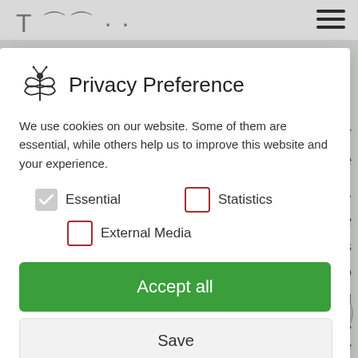[Figure (screenshot): Privacy preference cookie consent modal dialog overlaid on a website. Contains a dragonfly logo, title 'Privacy Preference', description text about cookies, checkboxes for Essential (checked), Statistics (unchecked), and External Media (unchecked), and buttons: Accept all (green), Save, Accept only essential cookies, Individual Privacy Preferences link, and footer links for Cookie Details, Privacy Policy, Imprint.]
Privacy Preference
We use cookies on our website. Some of them are essential, while others help us to improve this website and your experience.
Essential (checked)
Statistics (unchecked)
External Media (unchecked)
Accept all
Save
Accept only essential cookies
Individual Privacy Preferences
Cookie Details | Privacy Policy | Imprint